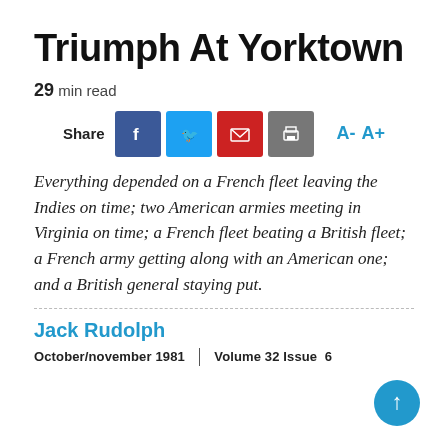Triumph At Yorktown
29 min read
[Figure (infographic): Social share bar with Facebook, Twitter, email, print icons and font size controls (A- A+)]
Everything depended on a French fleet leaving the Indies on time; two American armies meeting in Virginia on time; a French fleet beating a British fleet; a French army getting along with an American one; and a British general staying put.
Jack Rudolph
October/november 1981  |  Volume 32 Issue 6